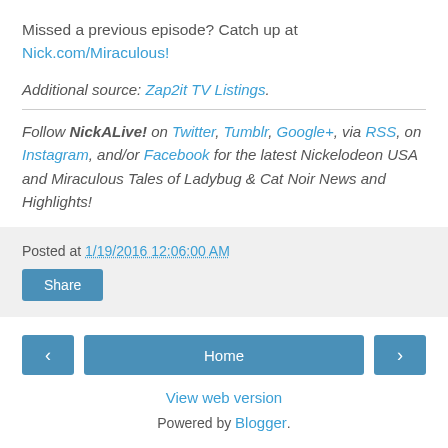Missed a previous episode? Catch up at Nick.com/Miraculous!
Additional source: Zap2it TV Listings.
Follow NickALive! on Twitter, Tumblr, Google+, via RSS, on Instagram, and/or Facebook for the latest Nickelodeon USA and Miraculous Tales of Ladybug & Cat Noir News and Highlights!
Posted at 1/19/2016 12:06:00 AM
Home
View web version
Powered by Blogger.